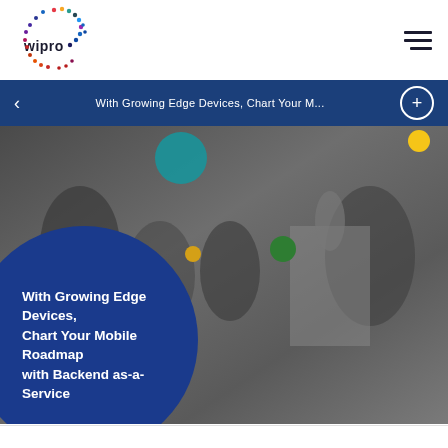[Figure (logo): Wipro logo with colorful dotted circular pattern]
With Growing Edge Devices, Chart Your M...
[Figure (photo): Grayscale photo of people working together in an office/workshop setting, with colorful decorative circles (teal, yellow, green, yellow) overlaid. A large blue circle in the lower left contains the headline text: With Growing Edge Devices, Chart Your Mobile Roadmap with Backend as-a-Service]